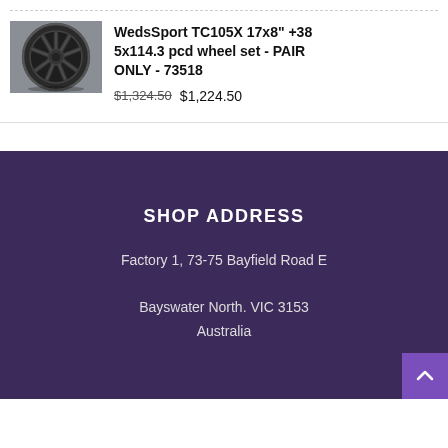[Figure (photo): Dark gunmetal/black alloy wheel - WedsSport TC105X]
WedsSport TC105X 17x8" +38 5x114.3 pcd wheel set - PAIR ONLY - 73518 $1,324.50 $1,224.50
SHOP ADDRESS
Factory 1, 73-75 Bayfield Road E
Bayswater North. VIC 3153
Australia